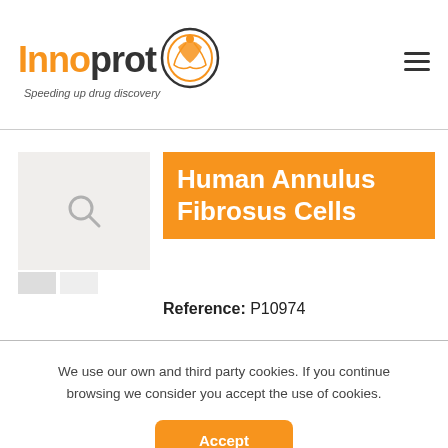[Figure (logo): Innoprot logo with orange 'Inno' and dark 'prot' text, circular figure icon, tagline 'Speeding up drug discovery']
[Figure (photo): Product image placeholder with light gray background and magnifying glass icon; small thumbnail strip below]
Human Annulus Fibrosus Cells
Reference: P10974
We use our own and third party cookies. If you continue browsing we consider you accept the use of cookies.
Accept